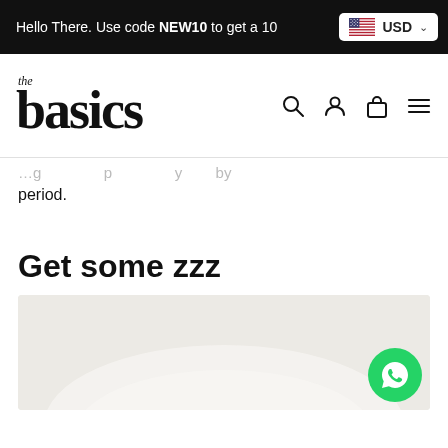Hello There. Use code NEW10 to get a 10 USD
[Figure (logo): The Basics brand logo with 'the' in italic small text above large bold serif 'basics']
[Figure (screenshot): Navigation icons: search, user/account, shopping bag, hamburger menu]
period.
Get some zzz
[Figure (photo): Product image with light beige/white background showing soft fabric or pillow item, partially visible. WhatsApp chat button overlay in bottom right corner.]